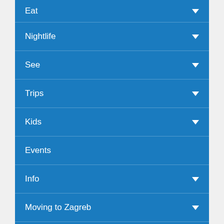Eat
Nightlife
See
Trips
Kids
Events
Info
Moving to Zagreb
News
Blog